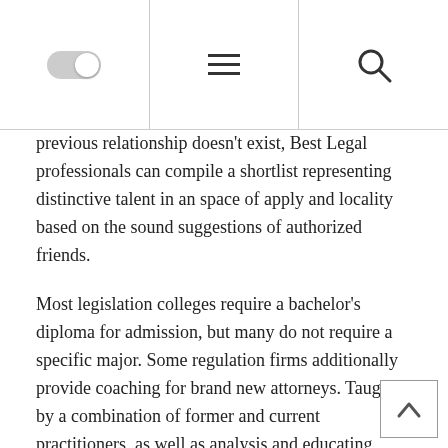[navigation bar with toggle, menu, and search icons]
previous relationship doesn't exist, Best Legal professionals can compile a shortlist representing distinctive talent in an space of apply and locality based on the sound suggestions of authorized friends.
Most legislation colleges require a bachelor's diploma for admission, but many do not require a specific major. Some regulation firms additionally provide coaching for brand new attorneys. Taught by a combination of former and current practitioners, as well as analysis and educating academics who're focussed on legal follow, not just principle.
This is an important aspect of profitable observe of business law. The New York College College of Regulation offers the Fu men Academic Students Program to law students who need to teach.